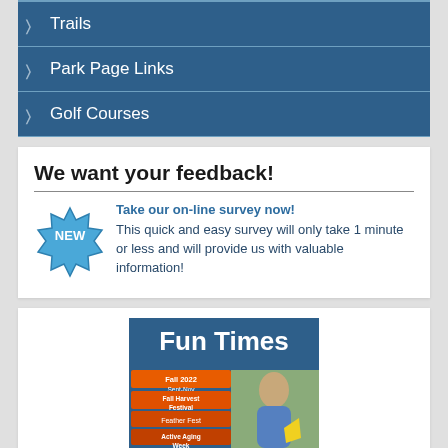Trails
Park Page Links
Golf Courses
We want your feedback!
Take our on-line survey now! This quick and easy survey will only take 1 minute or less and will provide us with valuable information!
[Figure (other): Fun Times newsletter cover showing Fall 2022 Sept-Nov issue with Fall Harvest Festival, Feather Fest, and Active Aging Week listings, and a photo of a person outdoors.]